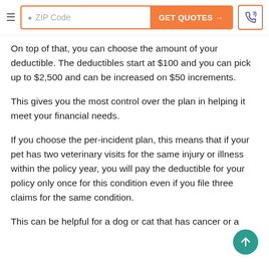ZIP Code | GET QUOTES →
On top of that, you can choose the amount of your deductible. The deductibles start at $100 and you can pick up to $2,500 and can be increased on $50 increments.
This gives you the most control over the plan in helping it meet your financial needs.
If you choose the per-incident plan, this means that if your pet has two veterinary visits for the same injury or illness within the policy year, you will pay the deductible for your policy only once for this condition even if you file three claims for the same condition.
This can be helpful for a dog or cat that has cancer or a